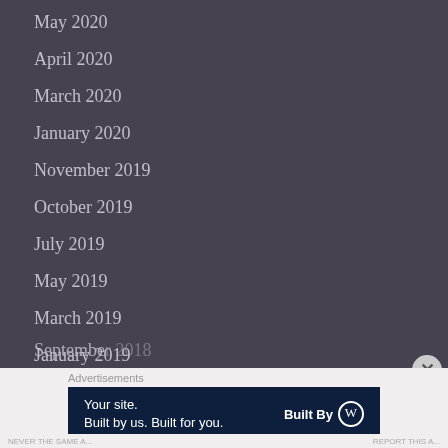May 2020
April 2020
March 2020
January 2020
November 2019
October 2019
July 2019
May 2019
March 2019
January 2019
December 2018
September 2018 (partial)
Advertisements
[Figure (infographic): Advertisement banner: 'Your site. Built by us. Built for you.' with Built By WordPress logo on dark navy background]
NEVER THE SAME A...